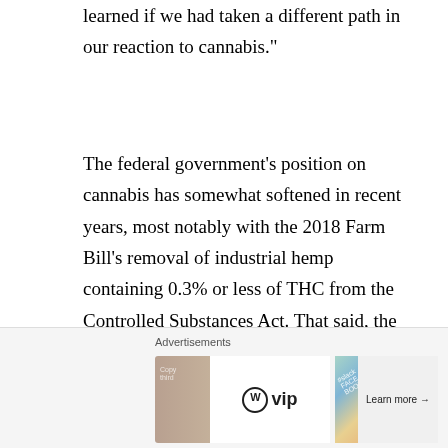learned if we had taken a different path in our reaction to cannabis."
The federal government's position on cannabis has somewhat softened in recent years, most notably with the 2018 Farm Bill's removal of industrial hemp containing 0.3% or less of THC from the Controlled Substances Act. That said, the use, sale, and possession of cannabis over 0.3% THC, despite laws in many states permitting it under various circumstances, is illegal under federal law.
Making Sense of It All
[Figure (other): Advertisement banner showing WordPress VIP logo with Learn more button and decorative background imagery]